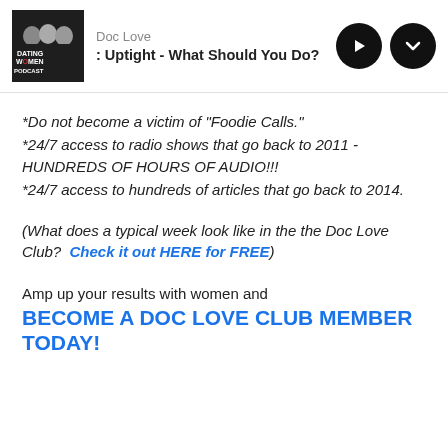Doc Love — : Uptight - What Should You Do?
*Do not become a victim of "Foodie Calls."
*24/7 access to radio shows that go back to 2011 - HUNDREDS OF HOURS OF AUDIO!!!
*24/7 access to hundreds of articles that go back to 2014.
(What does a typical week look like in the the Doc Love Club?  Check it out HERE for FREE)
Amp up your results with women and
BECOME A DOC LOVE CLUB MEMBER TODAY!